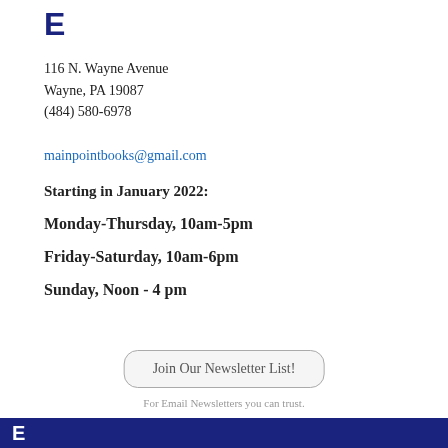[Figure (logo): Letter E logo in dark navy blue]
116 N. Wayne Avenue
Wayne, PA 19087
(484) 580-6978
mainpointbooks@gmail.com
Starting in January 2022:
Monday-Thursday, 10am-5pm
Friday-Saturday, 10am-6pm
Sunday, Noon - 4 pm
Join Our Newsletter List!
For Email Newsletters you can trust.
E